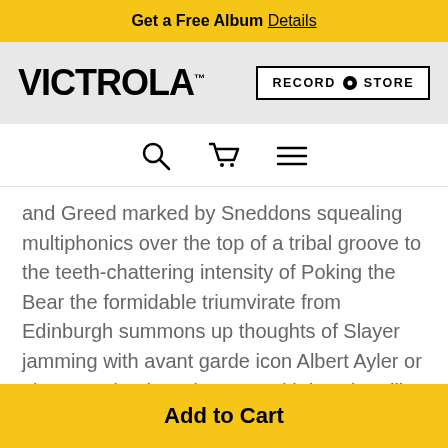Get a Free Album Details
[Figure (logo): Victrola logo on grey background, and Record Store button on white background]
[Figure (infographic): Navigation icons: search magnifying glass, shopping cart, hamburger menu]
and Greed marked by Sneddons squealing multiphonics over the top of a tribal groove to the teeth-chattering intensity of Poking the Bear the formidable triumvirate from Edinburgh summons up thoughts of Slayer jamming with avant garde icon Albert Ayler or alto saxophonist John Zorn with bassist Bill Laswell and former Slayer drummer Dave
$20.39  1
Add to Cart